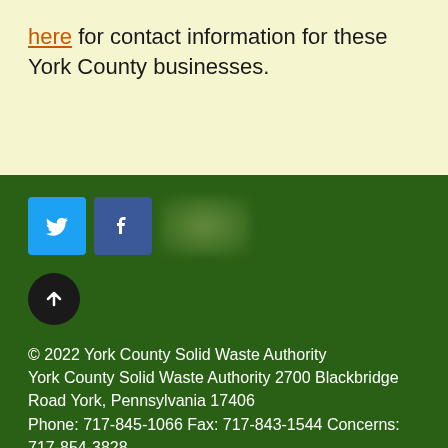here for contact information for these York County businesses.
[Figure (illustration): Social media icons: Twitter (blue bird icon), Facebook (dark blue f icon), and a blurred/redacted third icon, plus a scroll-to-top button (black circle with upward arrow)]
© 2022 York County Solid Waste Authority York County Solid Waste Authority 2700 Blackbridge Road York, Pennsylvania 17406 Phone: 717-845-1066 Fax: 717-843-1544 Concerns: 717-854-3828